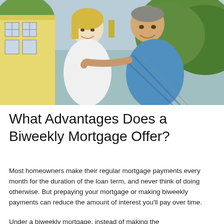[Figure (photo): A smiling middle-aged couple standing outdoors in front of a yellow house with greenery in the background. The woman is blonde wearing a white top; the man is wearing a blue plaid shirt.]
What Advantages Does a Biweekly Mortgage Offer?
Most homeowners make their regular mortgage payments every month for the duration of the loan term, and never think of doing otherwise. But prepaying your mortgage or making biweekly payments can reduce the amount of interest you'll pay over time.
Under a biweekly mortgage, instead of making the...